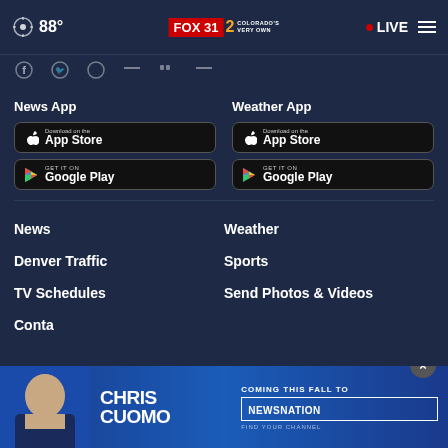88° FOX 31 2 COLORADO'S VERY OWN • LIVE
[Figure (screenshot): Social media icon bar with partially visible icons]
News App
Weather App
[Figure (screenshot): Download on the App Store badge (News App)]
[Figure (screenshot): GET IT ON Google Play badge (News App)]
[Figure (screenshot): Download on the App Store badge (Weather App)]
[Figure (screenshot): GET IT ON Google Play badge (Weather App)]
News
Weather
Denver Traffic
Sports
TV Schedules
Send Photos & Videos
Conta
[Figure (screenshot): Chris Cuomo Coming This Fall To NewsNation advertisement banner]